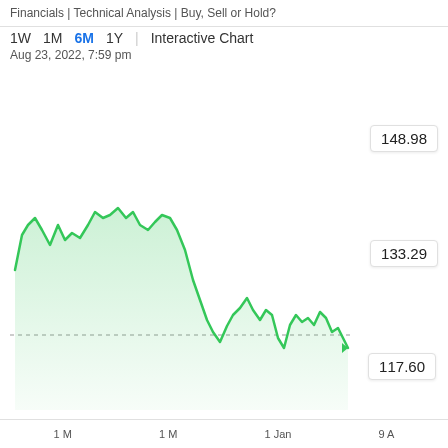Financials | Technical Analysis | Buy, Sell or Hold?
1W  1M  6M  1Y  |  Interactive Chart
Aug 23, 2022, 7:59 pm
[Figure (continuous-plot): 6-month stock price area chart with green fill. Price starts around 155, peaks near 165, drops to around 115, then oscillates in the 115-130 range with a final value near 117.60. A horizontal dotted line marks approximately 117.60.]
148.98
133.29
117.60
1 M          1 M                1 Jan          9 A